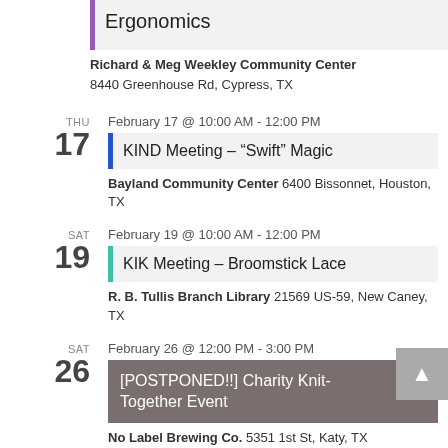Ergonomics
Richard & Meg Weekley Community Center 8440 Greenhouse Rd, Cypress, TX
THU 17 February 17 @ 10:00 AM - 12:00 PM
KIND Meeting – “Swift” Magic
Bayland Community Center 6400 Bissonnet, Houston, TX
SAT 19 February 19 @ 10:00 AM - 12:00 PM
KIK Meeting – Broomstick Lace
R. B. Tullis Branch Library 21569 US-59, New Caney, TX
SAT 26 February 26 @ 12:00 PM - 3:00 PM
[POSTPONED!!] Charity Knit-Together Event
No Label Brewing Co. 5351 1st St, Katy, TX